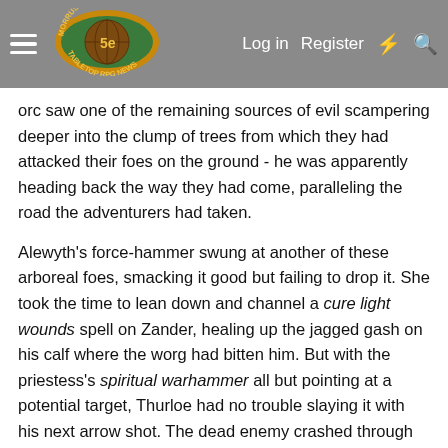Morrus' Unofficial Tabletop RPG News — Log in  Register
orc saw one of the remaining sources of evil scampering deeper into the clump of trees from which they had attacked their foes on the ground - he was apparently heading back the way they had come, paralleling the road the adventurers had taken.
Alewyth's force-hammer swung at another of these arboreal foes, smacking it good but failing to drop it. She took the time to lean down and channel a cure light wounds spell on Zander, healing up the jagged gash on his calf where the worg had bitten him. But with the priestess's spiritual warhammer all but pointing at a potential target, Thurloe had no trouble slaying it with his next arrow shot. The dead enemy crashed through the branches to fall to the ground to the accompaniment of Xandro's courage-inspiring tune.
Zander saw a brief flash of light up in the trees and realized